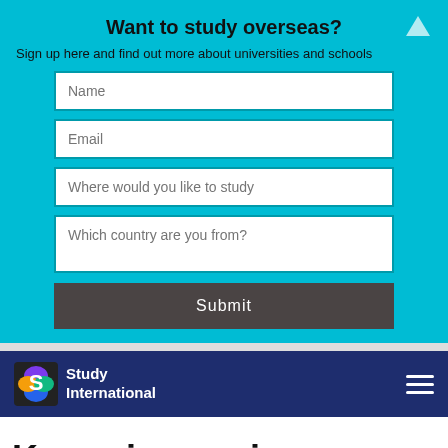Want to study overseas?
Sign up here and find out more about universities and schools
[Figure (screenshot): Web form with four input fields (Name, Email, Where would you like to study, Which country are you from?) and a Submit button on a teal background]
[Figure (logo): Study International logo on dark navy navigation bar with hamburger menu icon]
K-pop is a serious academic